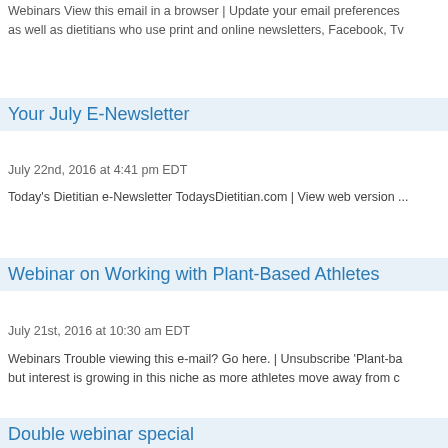Webinars View this email in a browser | Update your email preferences as well as dietitians who use print and online newsletters, Facebook, Tv
Your July E-Newsletter
July 22nd, 2016 at 4:41 pm EDT
Today's Dietitian e-Newsletter TodaysDietitian.com | View web version
Webinar on Working with Plant-Based Athletes
July 21st, 2016 at 10:30 am EDT
Webinars Trouble viewing this e-mail? Go here. | Unsubscribe 'Plant-ba but interest is growing in this niche as more athletes move away from c
Double webinar special
July 13th, 2016 at 9:22 am EDT
Webinars Trouble viewing this e-mail? Go here. | Unsubscribe Register Purchase both of these upcoming webinars for only $29* ...
Advance Registration Rate for 2017 Symposium